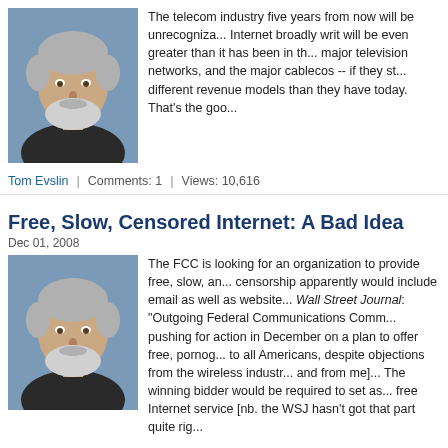[Figure (photo): Headshot of Tom Evslin, older man with grey hair and beard]
The telecom industry five years from now will be unrecogniza... Internet broadly writ will be even greater than it has been in th... major television networks, and the major cablecos -- if they st... different revenue models than they have today. That's the goo...
Tom Evslin | Comments: 1 | Views: 10,616
Free, Slow, Censored Internet: A Bad Idea
Dec 01, 2008
[Figure (photo): Headshot of Tom Evslin, older man with grey hair and beard]
The FCC is looking for an organization to provide free, slow, an... censorship apparently would include email as well as website... Wall Street Journal: "Outgoing Federal Communications Comm... pushing for action in December on a plan to offer free, pornog... to all Americans, despite objections from the wireless industr... and from me]... The winning bidder would be required to set as... free Internet service [nb. the WSJ hasn't got that part quite rig...
Tom Evslin | Comments: 1 | Views: 15,088
Goo Goo Goggles: 700MHz Spectrum Auction and the U...